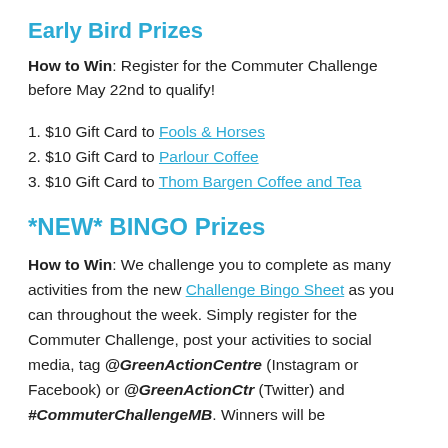Early Bird Prizes
How to Win: Register for the Commuter Challenge before May 22nd to qualify!
1. $10 Gift Card to Fools & Horses
2. $10 Gift Card to Parlour Coffee
3. $10 Gift Card to Thom Bargen Coffee and Tea
*NEW* BINGO Prizes
How to Win: We challenge you to complete as many activities from the new Challenge Bingo Sheet as you can throughout the week. Simply register for the Commuter Challenge, post your activities to social media, tag @GreenActionCentre (Instagram or Facebook) or @GreenActionCtr (Twitter) and #CommuterChallengeMB. Winners will be